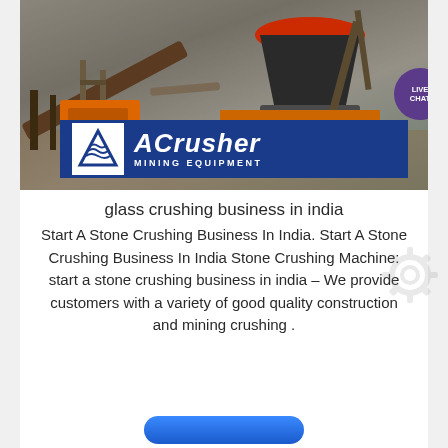[Figure (photo): Mining/stone crushing equipment at industrial site with conveyor belts and a large cone crusher, overlaid with ACrusher Mining Equipment logo banner]
glass crushing business in india
Start A Stone Crushing Business In India. Start A Stone Crushing Business In India Stone Crushing Machine: start a stone crushing business in india – We provide customers with a variety of good quality construction and mining crushing .